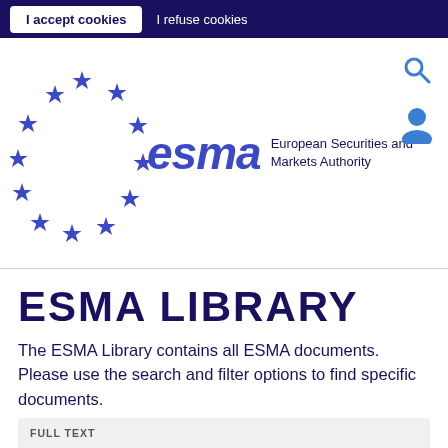I accept cookies  |  I refuse cookies
[Figure (logo): ESMA logo with EU stars circle and text 'esma European Securities and Markets Authority']
ESMA LIBRARY
The ESMA Library contains all ESMA documents. Please use the search and filter options to find specific documents.
FULL TEXT